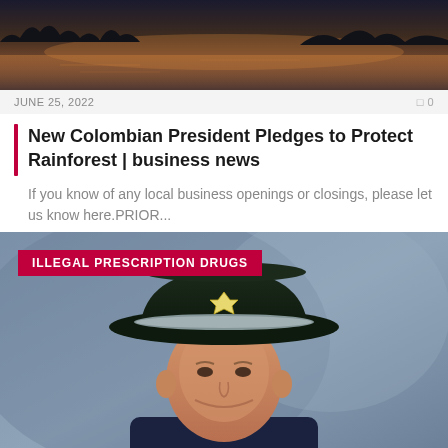[Figure (photo): Dark sunset photo over a lake or river with silhouetted trees and calm water reflecting orange and purple sky.]
JUNE 25, 2022
New Colombian President Pledges to Protect Rainforest | business news
If you know of any local business openings or closings, please let us know here.PRIOR...
[Figure (photo): Official portrait photo of a police officer wearing a wide-brim campaign hat with badge, dark uniform, smiling, blue/grey background. Label 'ILLEGAL PRESCRIPTION DRUGS' appears in a red banner at top-left.]